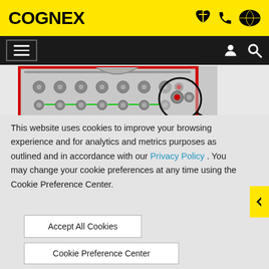[Figure (logo): Cognex logo in black bold text on yellow background header]
[Figure (screenshot): Cognex website navigation bar with hamburger menu, user and search icons on black background]
[Figure (photo): Industrial machine vision image showing circuit board or controller component with red border highlight and magnifying circle showing a red defect marker, green annotations visible]
This website uses cookies to improve your browsing experience and for analytics and metrics purposes as outlined and in accordance with our Privacy Policy . You may change your cookie preferences at any time using the Cookie Preference Center.
Accept All Cookies
Cookie Preference Center